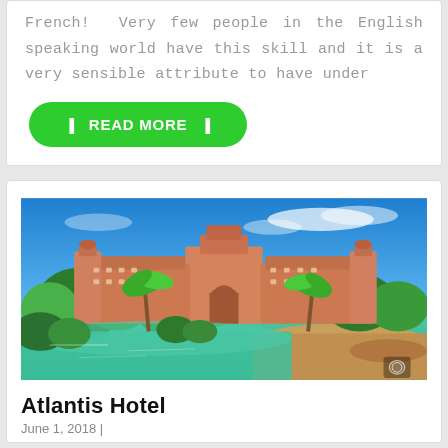French! Very few people in the English speaking world have this skill and it is a very sensible attribute to have under
READ MORE
[Figure (photo): Aerial/wide-angle photo of the Atlantis Hotel in the Bahamas, showing the iconic pink resort building with palm trees, tropical greenery, and turquoise lagoon water in the foreground under a bright blue sky with light clouds.]
Atlantis Hotel
June 1, 2018 | ...